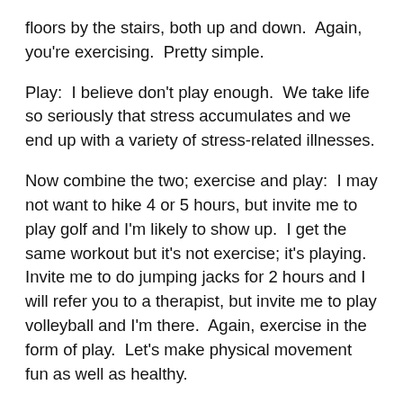floors by the stairs, both up and down.  Again, you're exercising.  Pretty simple.
Play:  I believe don't play enough.  We take life so seriously that stress accumulates and we end up with a variety of stress-related illnesses.
Now combine the two; exercise and play:  I may not want to hike 4 or 5 hours, but invite me to play golf and I'm likely to show up.  I get the same workout but it's not exercise; it's playing.  Invite me to do jumping jacks for 2 hours and I will refer you to a therapist, but invite me to play volleyball and I'm there.  Again, exercise in the form of play.  Let's make physical movement fun as well as healthy.
Sleep:  We all need sleep but the amount of sleep we need does vary.  The National Institute of Sleep[3] (yes